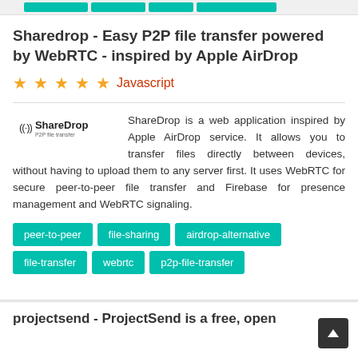[Figure (other): Top tag bar with teal/green colored tag pills]
Sharedrop - Easy P2P file transfer powered by WebRTC - inspired by Apple AirDrop
★★★★★  Javascript
[Figure (logo): ShareDrop P2P file transfer logo with wifi-like icon]
ShareDrop is a web application inspired by Apple AirDrop service. It allows you to transfer files directly between devices, without having to upload them to any server first. It uses WebRTC for secure peer-to-peer file transfer and Firebase for presence management and WebRTC signaling.
peer-to-peer
file-sharing
airdrop-alternative
file-transfer
webrtc
p2p-file-transfer
projectsend - ProjectSend is a free, open